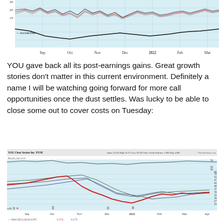[Figure (continuous-plot): Stock chart top portion showing multiple lines including Accum/Dist indicator, with x-axis labels Sep, Oct, Nov, Dec, 2022, Feb, Mar, Apr, May. Y-axis shows values around 10-30. Dark black line at bottom labeled Accum/Dist.]
YOU gave back all its post-earnings gains. Great growth stories don't matter in this current environment. Definitely a name I will be watching going forward for more call opportunities once the dust settles. Was lucky to be able to close some out to cover costs on Tuesday:
[Figure (continuous-plot): YOU Clear Secure Inc. NYSE stock chart from StockCharts.com. Daily candlestick chart showing price decline from around $45-50 range down to $20 area then slight recovery. Date range Sep through May 2022. Header shows Open 33.00, High 33.27, Low 29.28, Close 29.40, Volume 1.3M, Chg -4.88. MA(20,14) 52.01. Bottom panel shows MACD(12,26,9) 0.547, 0.372, 0.175.]